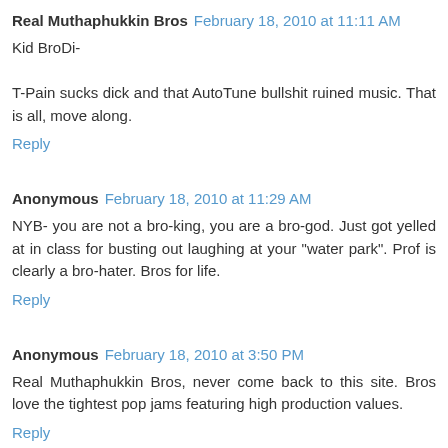Real Muthaphukkin Bros  February 18, 2010 at 11:11 AM
Kid BroDi-

T-Pain sucks dick and that AutoTune bullshit ruined music. That is all, move along.
Reply
Anonymous  February 18, 2010 at 11:29 AM
NYB- you are not a bro-king, you are a bro-god. Just got yelled at in class for busting out laughing at your "water park". Prof is clearly a bro-hater. Bros for life.
Reply
Anonymous  February 18, 2010 at 3:50 PM
Real Muthaphukkin Bros, never come back to this site. Bros love the tightest pop jams featuring high production values.
Reply